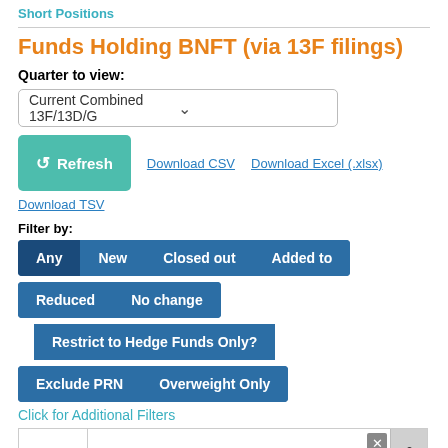Short Positions
Funds Holding BNFT (via 13F filings)
Quarter to view:
Current Combined 13F/13D/G
Refresh  Download CSV  Download Excel (.xlsx)
Download TSV
Filter by:
Any  New  Closed out  Added to
Reduced  No change
Restrict to Hedge Funds Only?
Exclude PRN  Overweight Only
Click for Additional Filters